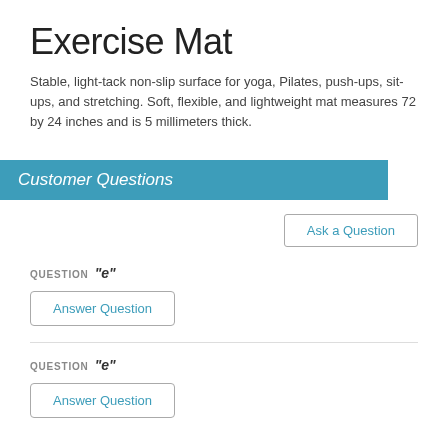Exercise Mat
Stable, light-tack non-slip surface for yoga, Pilates, push-ups, sit-ups, and stretching. Soft, flexible, and lightweight mat measures 72 by 24 inches and is 5 millimeters thick.
Customer Questions
Ask a Question
QUESTION "e"
Answer Question
QUESTION "e"
Answer Question